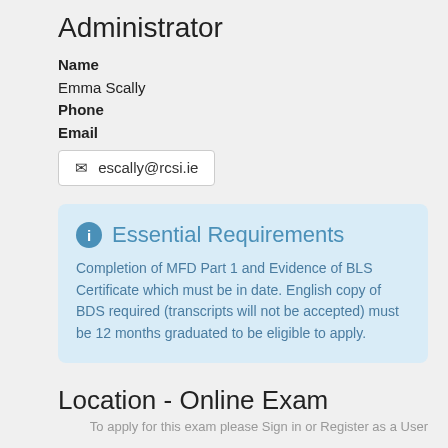Administrator
Name
Emma Scally
Phone
Email
✉ escally@rcsi.ie
Essential Requirements
Completion of MFD Part 1 and Evidence of BLS Certificate which must be in date. English copy of BDS required (transcripts will not be accepted) must be 12 months graduated to be eligible to apply.
Location - Online Exam
To apply for this exam please Sign in or Register as a User